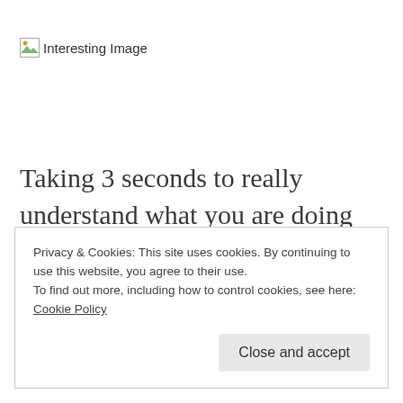[Figure (illustration): Broken image placeholder icon with text 'Interesting Image']
Taking 3 seconds to really understand what you are doing will help prevent an injury.
Privacy & Cookies: This site uses cookies. By continuing to use this website, you agree to their use.
To find out more, including how to control cookies, see here: Cookie Policy

Close and accept